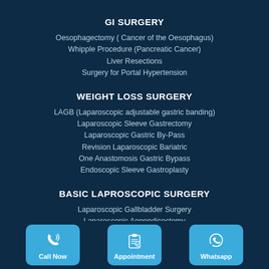GI SURGERY
Oesophagectomy ( Cancer of the Oesophagus)
Whipple Procedure (Pancreatic Cancer)
Liver Resections
Surgery for Portal Hypertension
WEIGHT LOSS SURGERY
LAGB (Laparoscopic adjustable gastric banding)
Laparoscopic Sleeve Gastrectomy
Laparoscopic Gastric By-Pass
Revision Laparoscopic Bariatric
One Anastomosis Gastric Bypass
Endoscopic Sleeve Gastroplasty
BASIC LAPROSCOPIC SURGERY
Laparoscopic Gallbladder Surgery
Laparoscopic Appendicectomy
Call Now | Appointment | Whatsapp